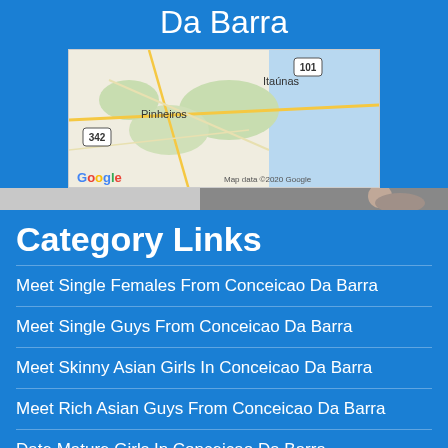Da Barra
[Figure (map): Google Map showing the area around Conceicao Da Barra, Brazil, with places like Pinheiros and Itaunas visible. Road 101 and 342 labeled. Map data ©2020 Google.]
[Figure (photo): A horizontal photo strip partially visible, appears to show people.]
Category Links
Meet Single Females From Conceicao Da Barra
Meet Single Guys From Conceicao Da Barra
Meet Skinny Asian Girls In Conceicao Da Barra
Meet Rich Asian Guys From Conceicao Da Barra
Date Mature Girls In Conceicao Da Barra
Date Jewish Guys From Conceicao Da Barra